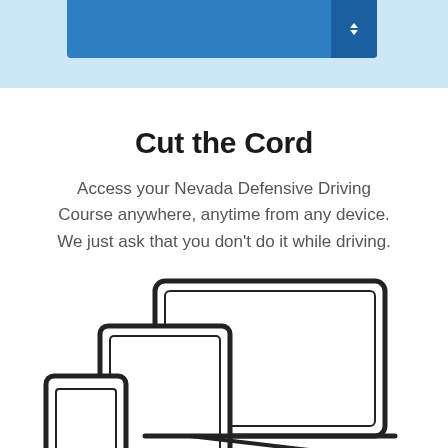[Figure (screenshot): Blue navigation bar UI element with a sort/expand icon on the right side, set against a light blue background]
Cut the Cord
Access your Nevada Defensive Driving Course anywhere, anytime from any device. We just ask that you don't do it while driving.
[Figure (illustration): Line drawing illustration of multiple devices: a laptop, tablet, and phone shown together, representing multi-device access]